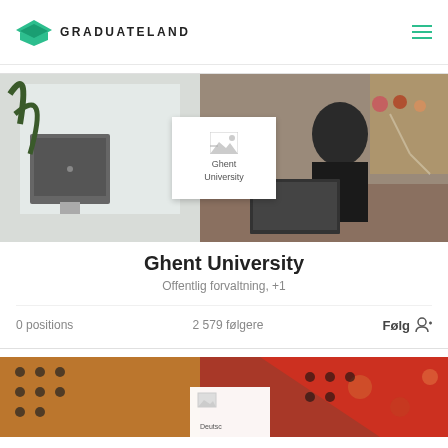GRADUATELAND
[Figure (screenshot): Graduateland university profile page showing Ghent University card with office background photo, logo placeholder, stats: 0 positions, 2 579 følgere, Følg button]
Ghent University
Offentlig forvaltning, +1
0 positions   2 579 følgere   Følg